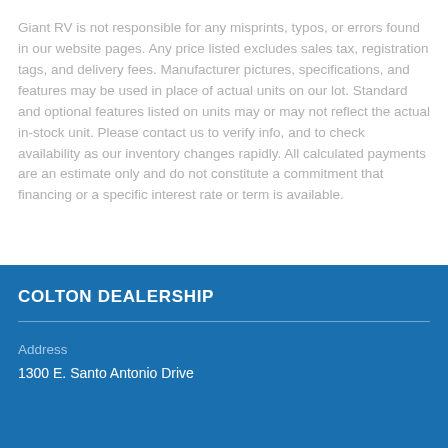Giant RV is not responsible for any misprints, typos, or errors found in our website pages. Any price listed excludes sales tax, registration tags, and delivery fees. Manufacturer pictures, specifications, and features may be used in place of actual units on our lot. Standard and optional features listed on units may or may not reflect the actual in-stock unit. Please contact us to verify info, and to check availability as our inventory changes rapidly. All calculated payments are an estimate only and do not constitute a commitment that financing or a specific interest rate or term is available.
COLTON DEALERSHIP
Address
1300 E. Santo Antonio Drive